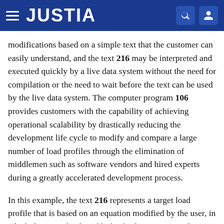JUSTIA
modifications based on a simple text that the customer can easily understand, and the text 216 may be interpreted and executed quickly by a live data system without the need for compilation or the need to wait before the text can be used by the live data system. The computer program 106 provides customers with the capability of achieving operational scalability by drastically reducing the development life cycle to modify and compare a large number of load profiles through the elimination of middlemen such as software vendors and hired experts during a greatly accelerated development process.
In this example, the text 216 represents a target load profile that is based on an equation modified by the user, in which the target load profile for facility 1 is a cost that equals 2 multiplied by facility 1's HVAC cost